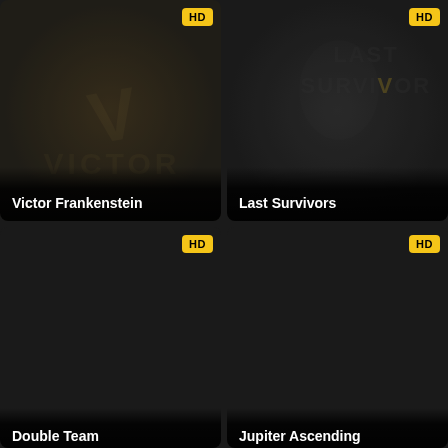[Figure (screenshot): Movie card for Victor Frankenstein with HD badge and dark poster background]
Victor Frankenstein
[Figure (screenshot): Movie card for Last Survivors with HD badge and dark poster background showing hooded figure]
Last Survivors
[Figure (screenshot): Movie card for Double Team with HD badge, partially cut off at bottom]
Double Team
[Figure (screenshot): Movie card for Jupiter Ascending with HD badge, partially cut off at bottom]
Jupiter Ascending